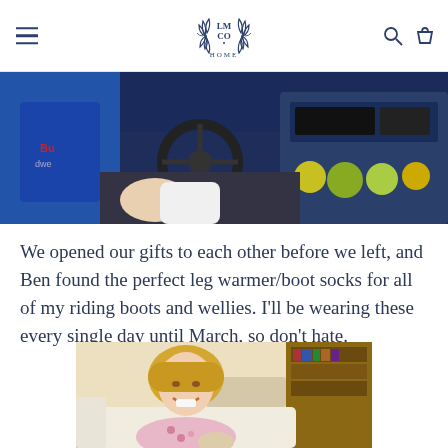LM CO HOME — navigation header with hamburger menu, logo, search and cart icons
[Figure (photo): Person sitting in truck cab interior, wearing blue shirt, hand on gear shift, dashboard visible with gauges and radio, decorative ball ornaments visible on dash]
We opened our gifts to each other before we left, and Ben found the perfect leg warmer/boot socks for all of my riding boots and wellies. I’ll be wearing these every single day until March, so don’t hate.
[Figure (photo): Blonde woman smiling, sitting on white couch/sofa in a living room setting with bookshelves visible in background]